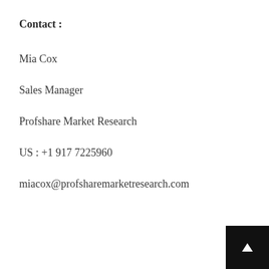Contact :
Mia Cox
Sales Manager
Profshare Market Research
US : +1 917 7225960
miacox@profsharemarketresearch.com